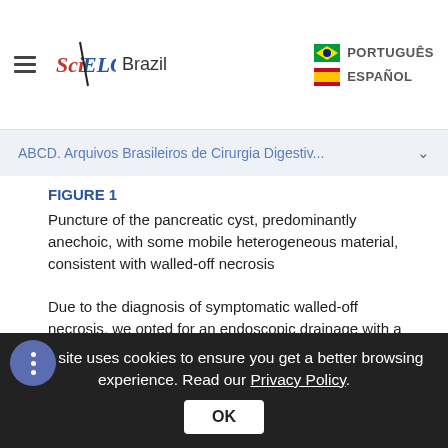SciELO Brazil | PORTUGUÊS | ESPAÑOL
ABCD. Arquivos Brasileiros de Cirurgia Digestiv...
FIGURE 1
Puncture of the pancreatic cyst, predominantly anechoic, with some mobile heterogeneous material, consistent with walled-off necrosis
Due to the diagnosis of symptomatic walled-off necrosis, we opted for an endoscopic drainage with a 10x10 mm HOT-AXIOS™ stent (Figure 2). The patient was under general anesthesia. After puncture, there was an immediate output of a brownish secretion with
This site uses cookies to ensure you get a better browsing experience. Read our Privacy Policy.